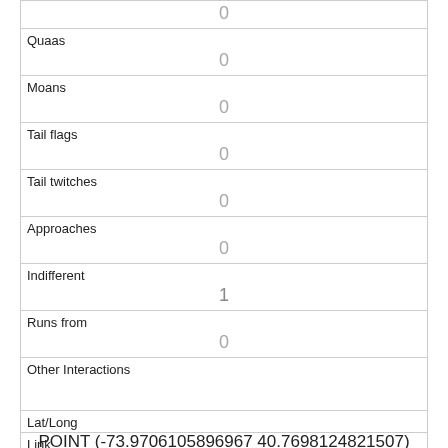|  | 0 |
| Quaas | 0 |
| Moans | 0 |
| Tail flags | 0 |
| Tail twitches | 0 |
| Approaches | 0 |
| Indifferent | 1 |
| Runs from | 0 |
| Other Interactions |  |
| Lat/Long | POINT (-73.9706105896967 40.7698124821507) |
| Link |  |